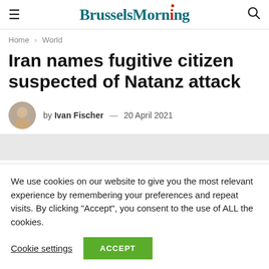BrusselsMorning
Home > World
Iran names fugitive citizen suspected of Natanz attack
by Ivan Fischer — 20 April 2021
We use cookies on our website to give you the most relevant experience by remembering your preferences and repeat visits. By clicking "Accept", you consent to the use of ALL the cookies.
Cookie settings | ACCEPT